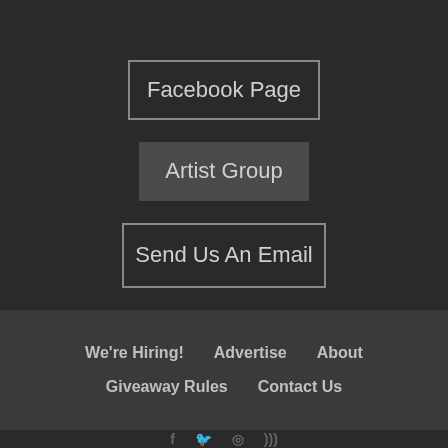Facebook Page
Artist Group
Send Us An Email
We're Hiring!  Advertise  About  Giveaway Rules  Contact Us